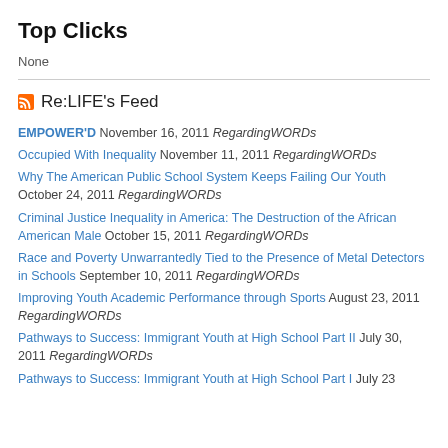Top Clicks
None
Re:LIFE's Feed
EMPOWER'D November 16, 2011 RegardingWORDs
Occupied With Inequality November 11, 2011 RegardingWORDs
Why The American Public School System Keeps Failing Our Youth October 24, 2011 RegardingWORDs
Criminal Justice Inequality in America: The Destruction of the African American Male October 15, 2011 RegardingWORDs
Race and Poverty Unwarrantedly Tied to the Presence of Metal Detectors in Schools September 10, 2011 RegardingWORDs
Improving Youth Academic Performance through Sports August 23, 2011 RegardingWORDs
Pathways to Success: Immigrant Youth at High School Part II July 30, 2011 RegardingWORDs
Pathways to Success: Immigrant Youth at High School Part I July 23